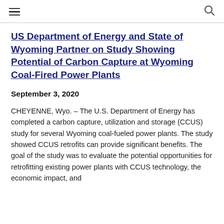≡  🔍
US Department of Energy and State of Wyoming Partner on Study Showing Potential of Carbon Capture at Wyoming Coal-Fired Power Plants
September 3, 2020
CHEYENNE, Wyo. – The U.S. Department of Energy has completed a carbon capture, utilization and storage (CCUS) study for several Wyoming coal-fueled power plants. The study showed CCUS retrofits can provide significant benefits. The goal of the study was to evaluate the potential opportunities for retrofitting existing power plants with CCUS technology, the economic impact, and